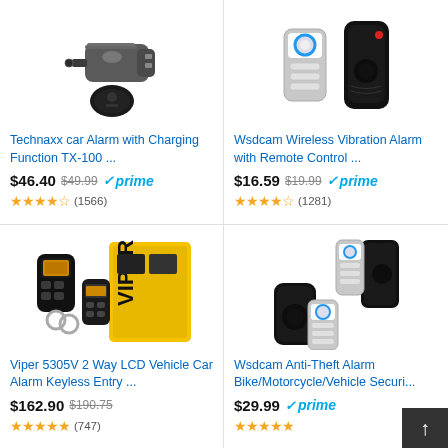[Figure (photo): Technaxx car alarm charger device with remote key fob]
Technaxx car Alarm with Charging Function TX-100 ...
$46.40  $49.99  prime  (1566 reviews, 3.5 stars)
[Figure (photo): Wsdcam wireless vibration alarm with remote control keypad and alarm unit]
Wsdcam Wireless Vibration Alarm with Remote Control ...
$16.59  $19.99  prime  (1281 reviews, 3.5 stars)
[Figure (photo): Viper 5305V 2 way LCD vehicle car alarm keyless entry system with keyfobs and yellow box]
Viper 5305V 2 Way LCD Vehicle Car Alarm Keyless Entry ...
$162.90  $190.75  (747 reviews)
[Figure (photo): Wsdcam anti-theft alarm for bike/motorcycle/vehicle with two remote controls and two alarm units]
Wsdcam Anti-Theft Alarm Bike/Motorcycle/Vehicle Securi...
$29.99  prime  (reviews)